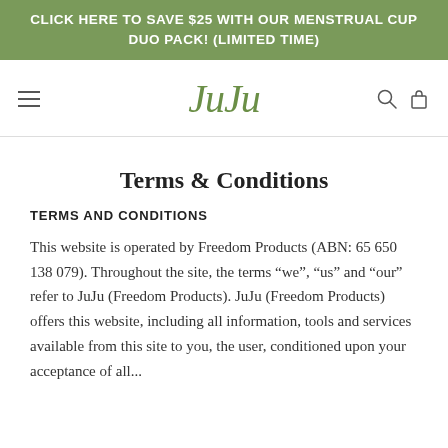CLICK HERE TO SAVE $25 WITH OUR MENSTRUAL CUP DUO PACK! (LIMITED TIME)
[Figure (logo): JuJu brand logo in cursive green text with hamburger menu icon on left, search and shopping bag icons on right]
Terms & Conditions
TERMS AND CONDITIONS
This website is operated by Freedom Products (ABN: 65 650 138 079). Throughout the site, the terms “we”, “us” and “our” refer to JuJu (Freedom Products). JuJu (Freedom Products) offers this website, including all information, tools and services available from this site to you, the user, conditioned upon your acceptance of all...